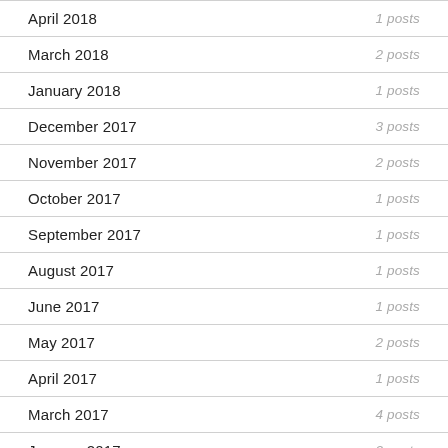April 2018 — 1 posts
March 2018 — 2 posts
January 2018 — 1 posts
December 2017 — 3 posts
November 2017 — 2 posts
October 2017 — 1 posts
September 2017 — 1 posts
August 2017 — 1 posts
June 2017 — 1 posts
May 2017 — 2 posts
April 2017 — 1 posts
March 2017 — 4 posts
January 2017 — 2 posts